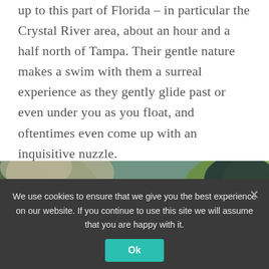up to this part of Florida – in particular the Crystal River area, about an hour and a half north of Tampa. Their gentle nature makes a swim with them a surreal experience as they gently glide past or even under you as you float, and oftentimes even come up with an inquisitive nuzzle.
[Figure (photo): Aerial view of a large group of manatees swimming in shallow water with green aquatic vegetation visible around them]
We use cookies to ensure that we give you the best experience on our website. If you continue to use this site we will assume that you are happy with it.